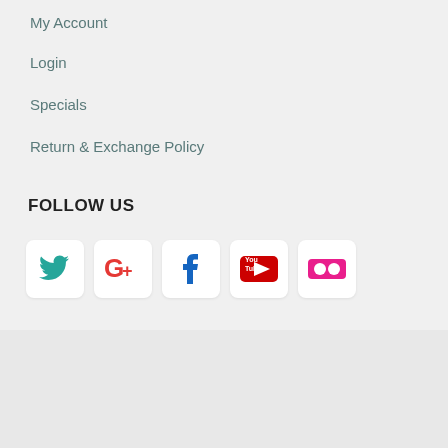My Account
Login
Specials
Return & Exchange Policy
FOLLOW US
[Figure (infographic): Row of 5 social media icon buttons: Twitter (teal bird), Google+ (red G+), Facebook (blue f), YouTube (red play button with 'You Tube' text), Flickr (pink dots on white rounded square buttons)]
Copyright © 2019, Inc. All rights reserved. | Privacy Policy
[Figure (infographic): Payment logos: VISA (blue italic), MasterCard (overlapping red and orange circles), PayPal (blue italic text)]